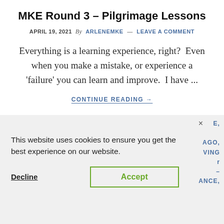MKE Round 3 – Pilgrimage Lessons
APRIL 19, 2021  By  ARLENEMKE  —  LEAVE A COMMENT
Everything is a learning experience, right?  Even when you make a mistake, or experience a 'failure' you can learn and improve.  I have ...
CONTINUE READING →
This website uses cookies to ensure you get the best experience on our website.
Decline  Accept